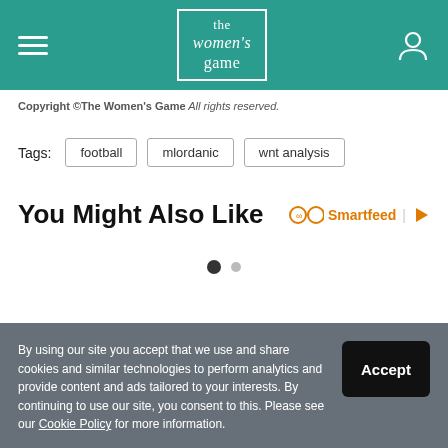the women's game
Copyright ©The Women's Game All rights reserved.
Tags: football   mlordanic   wnt analysis
You Might Also Like
[Figure (other): Smartfeed logo with infinity symbol and play button]
[Figure (other): Carousel navigation dots: one filled, one empty]
By using our site you accept that we use and share cookies and similar technologies to perform analytics and provide content and ads tailored to your interests. By continuing to use our site, you consent to this. Please see our Cookie Policy for more information.